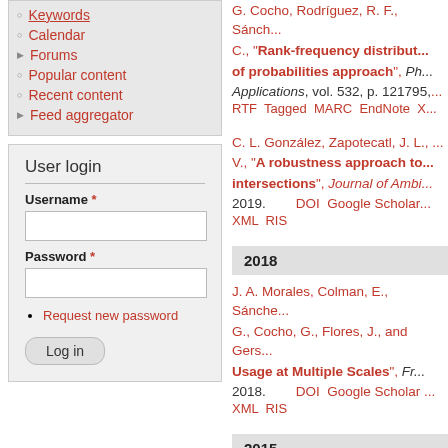Keywords
Calendar
Forums
Popular content
Recent content
Feed aggregator
User login
Username *
Password *
Request new password
Log in
G. Cocho, Rodríguez, R. F., Sánch... C., "Rank-frequency distribut... of probabilities approach", Ph... Applications, vol. 532, p. 121795, RTF Tagged MARC EndNote X...
C. L. González, Zapotecatl, J. L., ... V., "A robustness approach to... intersections", Journal of Ambi... 2019. DOI Google Scholar XML RIS
2018
J. A. Morales, Colman, E., Sánche... G., Cocho, G., Flores, J., and Gers... "Usage at Multiple Scales", Fr... 2018. DOI Google Scholar XML RIS
2015